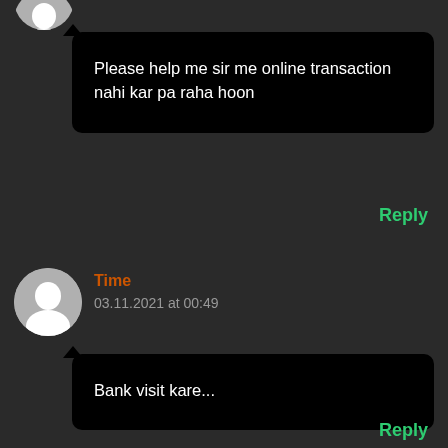[Figure (illustration): Partially visible user avatar (grey circle with white person silhouette) at top left, cropped]
Please help me sir me online transaction nahi kar pa raha hoon
Reply
[Figure (illustration): User avatar (grey circle with white person silhouette)]
Time
03.11.2021 at 00:49
Bank visit kare...
Reply